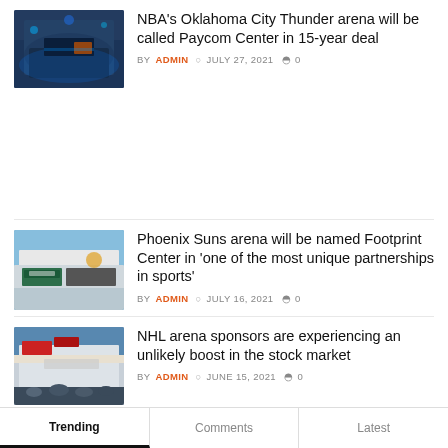[Figure (photo): Interior/exterior view of Oklahoma City Thunder arena at night with blue lighting]
NBA's Oklahoma City Thunder arena will be called Paycom Center in 15-year deal
BY ADMIN  JULY 27, 2021  0
[Figure (photo): Exterior view of Phoenix Suns arena (Footprint Center) with signage]
Phoenix Suns arena will be named Footprint Center in 'one of the most unique partnerships in sports'
BY ADMIN  JULY 16, 2021  0
[Figure (photo): Exterior view of an NHL arena with crowds outside]
NHL arena sponsors are experiencing an unlikely boost in the stock market
BY ADMIN  JUNE 15, 2021  0
Trending | Comments | Latest